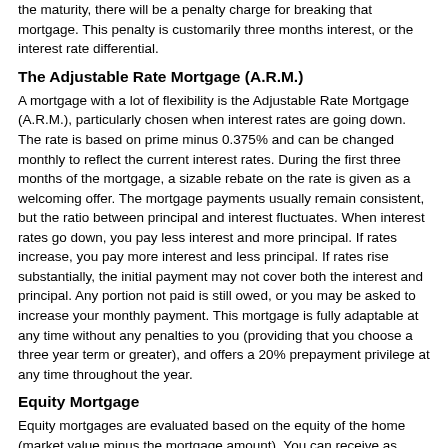the maturity, there will be a penalty charge for breaking that mortgage. This penalty is customarily three months interest, or the interest rate differential.
The Adjustable Rate Mortgage (A.R.M.)
A mortgage with a lot of flexibility is the Adjustable Rate Mortgage (A.R.M.), particularly chosen when interest rates are going down. The rate is based on prime minus 0.375% and can be changed monthly to reflect the current interest rates. During the first three months of the mortgage, a sizable rebate on the rate is given as a welcoming offer. The mortgage payments usually remain consistent, but the ratio between principal and interest fluctuates. When interest rates go down, you pay less interest and more principal. If rates increase, you pay more interest and less principal. If rates rise substantially, the initial payment may not cover both the interest and principal. Any portion not paid is still owed, or you may be asked to increase your monthly payment. This mortgage is fully adaptable at any time without any penalties to you (providing that you choose a three year term or greater), and offers a 20% prepayment privilege at any time throughout the year.
Equity Mortgage
Equity mortgages are evaluated based on the equity of the home (market value minus the mortgage amount). You can receive as much as 80% of the purchase price or value of the property. These are generally offered to applicants that do not meet the normal income and/or credit qualifying mortgage guidelines (i.e. little or no income verification, self-employed,